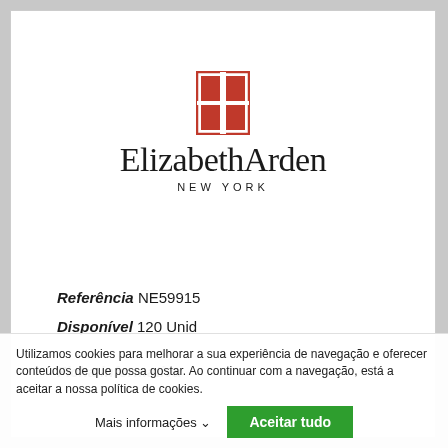[Figure (logo): Elizabeth Arden New York logo with red grid square icon above the brand name]
Referência NE59915
Disponível 120 Unid
Ficha informativa
Utilizamos cookies para melhorar a sua experiência de navegação e oferecer conteúdos de que possa gostar. Ao continuar com a navegação, está a aceitar a nossa política de cookies.
Mais informações
Aceitar tudo